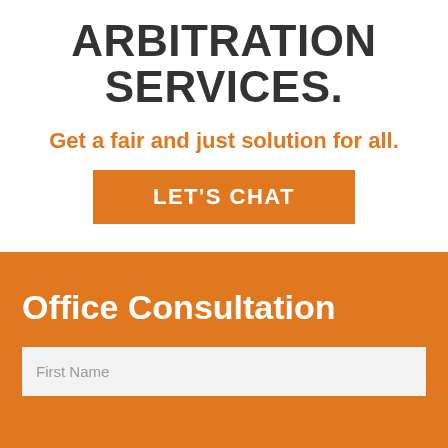ARBITRATION SERVICES.
Get a fair and just solution for all.
LET'S CHAT
Office Consultation
First Name